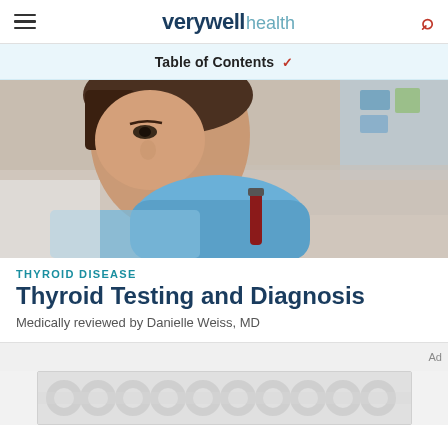verywell health
Table of Contents
[Figure (photo): A medical professional wearing blue gloves examining a blood sample tube in a laboratory setting]
THYROID DISEASE
Thyroid Testing and Diagnosis
Medically reviewed by Danielle Weiss, MD
[Figure (other): Advertisement placeholder banner with decorative pattern]